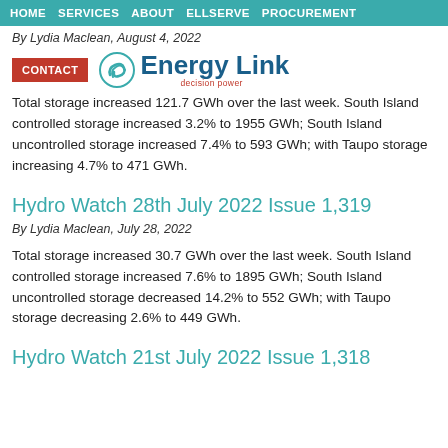HOME  SERVICES  ABOUT  ELLSERVE  PROCUREMENT
By Lydia Maclean, August 4, 2022
[Figure (logo): Energy Link logo with swirl icon and CONTACT button overlay]
Total storage increased 121.7 GWh over the last week. South Island controlled storage increased 3.2% to 1955 GWh; South Island uncontrolled storage increased 7.4% to 593 GWh; with Taupo storage increasing 4.7% to 471 GWh.
Hydro Watch 28th July 2022 Issue 1,319
By Lydia Maclean, July 28, 2022
Total storage increased 30.7 GWh over the last week. South Island controlled storage increased 7.6% to 1895 GWh; South Island uncontrolled storage decreased 14.2% to 552 GWh; with Taupo storage decreasing 2.6% to 449 GWh.
Hydro Watch 21st July 2022 Issue 1,318